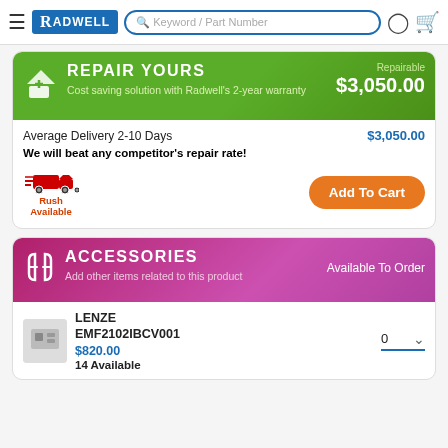Radwell — Keyword / Part Number search bar
[Figure (infographic): Repair Yours green banner with icon, title REPAIR YOURS, subtitle Cost saving solution with Radwell's 2-year warranty, Repairable $3,050.00]
Average Delivery 2-10 Days — $3,050.00
We will beat any competitor's repair rate!
Rush Available
Add To Cart
[Figure (infographic): Accessories purple/magenta banner with icon, title ACCESSORIES, subtitle Add other items related to this product, Available To Order]
LENZE EMF2102IBCV001 $820.00 14 Available 0